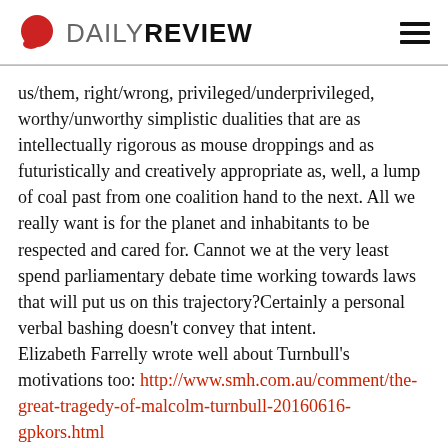DAILY REVIEW
us/them, right/wrong, privileged/underprivileged, worthy/unworthy simplistic dualities that are as intellectually rigorous as mouse droppings and as futuristically and creatively appropriate as, well, a lump of coal past from one coalition hand to the next. All we really want is for the planet and inhabitants to be respected and cared for. Cannot we at the very least spend parliamentary debate time working towards laws that will put us on this trajectory?Certainly a personal verbal bashing doesn't convey that intent.
Elizabeth Farrelly wrote well about Turnbull's motivations too: http://www.smh.com.au/comment/the-great-tragedy-of-malcolm-turnbull-20160616-gpkors.html
Reply